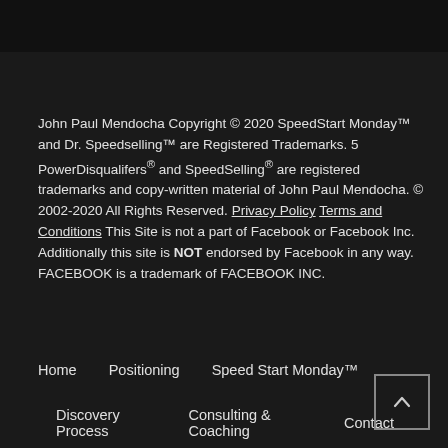John Paul Mendocha Copyright © 2020 SpeedStart Monday™ and Dr. Speedselling™ are Registered Trademarks. 5 PowerDisqualifers® and SpeedSelling® are registered trademarks and copy-written material of John Paul Mendocha. © 2002-2020 All Rights Reserved. Privacy Policy Terms and Conditions This Site is not a part of Facebook or Facebook Inc. Additionally this site is NOT endorsed by Facebook in any way. FACEBOOK is a trademark of FACEBOOK INC.
Home   Positioning   Speed Start Monday™
Discovery Process   Consulting & Coaching   Contact